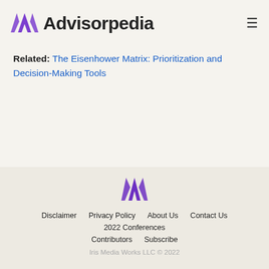Advisorpedia
Related: The Eisenhower Matrix: Prioritization and Decision-Making Tools
Disclaimer | Privacy Policy | About Us | Contact Us | 2022 Conferences | Contributors | Subscribe | Iris Media Works LLC © 2022